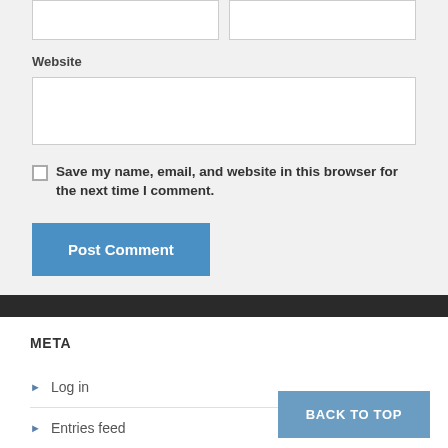Website
Save my name, email, and website in this browser for the next time I comment.
Post Comment
META
Log in
Entries feed
BACK TO TOP